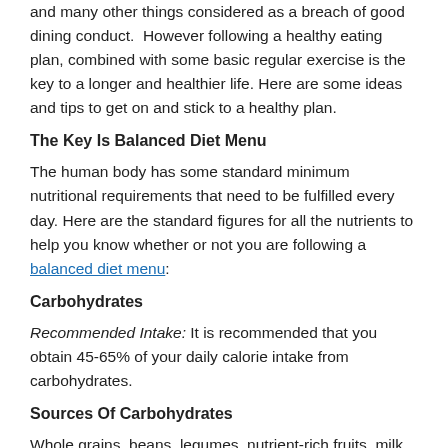and many other things considered as a breach of good dining conduct.  However following a healthy eating plan, combined with some basic regular exercise is the key to a longer and healthier life. Here are some ideas and tips to get on and stick to a healthy plan.
The Key Is Balanced Diet Menu
The human body has some standard minimum nutritional requirements that need to be fulfilled every day. Here are the standard figures for all the nutrients to help you know whether or not you are following a balanced diet menu:
Carbohydrates
Recommended Intake: It is recommended that you obtain 45-65% of your daily calorie intake from carbohydrates.
Sources Of Carbohydrates
Whole grains, beans, legumes, nutrient-rich fruits, milk, corn, and other foodstuff made from sugar are all rich sources of carbohydrates. Limit your sugar intake from candy and other sweet products.
Protein
Recommended Intake:It is recommended that 10-35% of your daily calorie intake should be obtained from proteins.